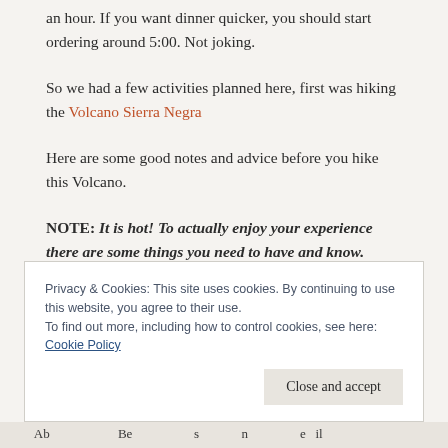an hour.  If you want dinner quicker, you should start ordering around 5:00.  Not joking.
So we had a few activities planned here, first was hiking the Volcano Sierra Negra
Here are some good notes and advice before you hike this Volcano.
NOTE:  It is hot!  To actually enjoy your experience there are some things you need to have and know.
Privacy & Cookies: This site uses cookies. By continuing to use this website, you agree to their use.
To find out more, including how to control cookies, see here: Cookie Policy
Close and accept
...